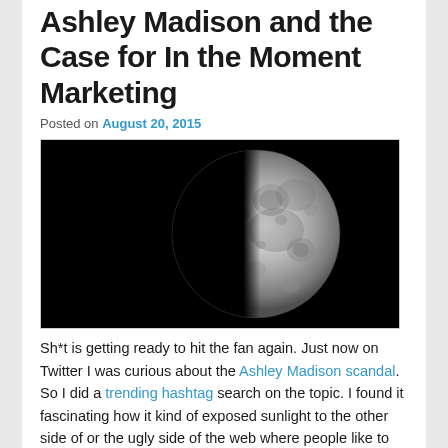Ashley Madison and the Case for In the Moment Marketing
Posted on August 20, 2015
[Figure (photo): Half moon photograph against a black background, showing the moon's cratered surface on the right half with crisp detail, left half in darkness.]
Sh*t is getting ready to hit the fan again. Just now on Twitter I was curious about the Ashley Madison scandal. So I did a trending hashtag search on the topic. I found it fascinating how it kind of exposed sunlight to the other side of or the ugly side of the web where people like to